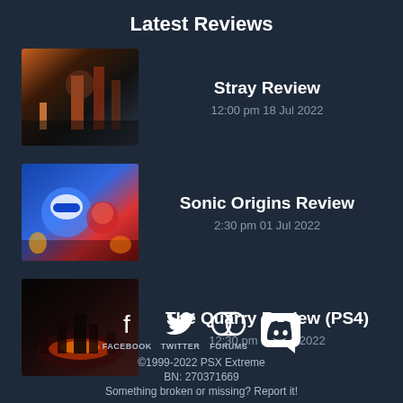Latest Reviews
Stray Review — 12:00 pm 18 Jul 2022
Sonic Origins Review — 2:30 pm 01 Jul 2022
The Quarry Review (PS4) — 12:30 pm 25 Jun 2022
FACEBOOK   TWITTER   FORUMS   [Discord] ©1999-2022 PSX Extreme BN: 270371669 Something broken or missing? Report it!